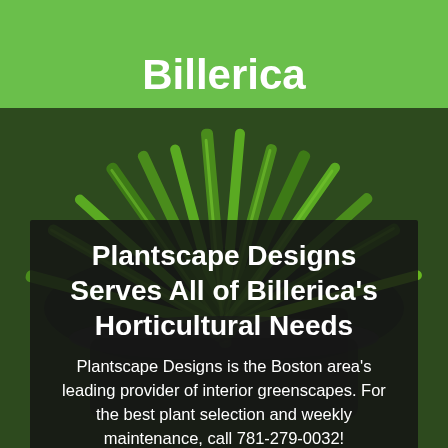Billerica
[Figure (photo): Close-up photo of green succulent plant leaves in a dark pot, used as background image]
Plantscape Designs Serves All of Billerica’s Horticultural Needs
Plantscape Designs is the Boston area’s leading provider of interior greenscapes. For the best plant selection and weekly maintenance, call 781-279-0032!